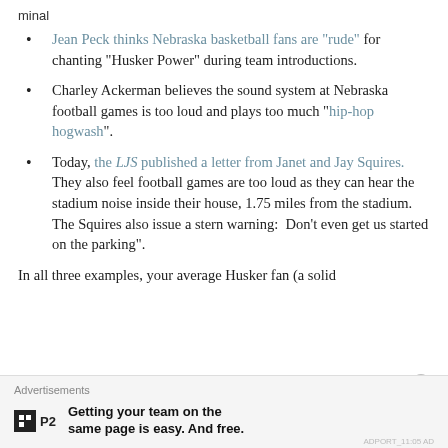minal
Jean Peck thinks Nebraska basketball fans are "rude" for chanting "Husker Power" during team introductions.
Charley Ackerman believes the sound system at Nebraska football games is too loud and plays too much "hip-hop hogwash".
Today, the LJS published a letter from Janet and Jay Squires. They also feel football games are too loud as they can hear the stadium noise inside their house, 1.75 miles from the stadium. The Squires also issue a stern warning: Don't even get us started on the parking".
In all three examples, your average Husker fan (a solid
Advertisements
Getting your team on the same page is easy. And free.